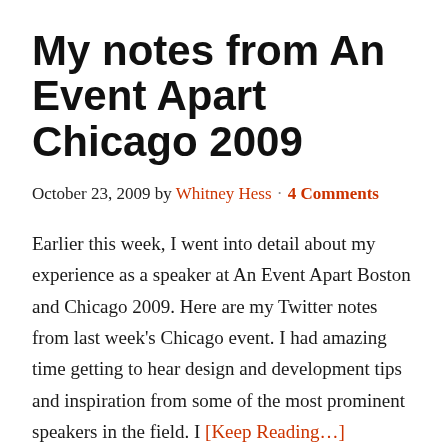My notes from An Event Apart Chicago 2009
October 23, 2009 by Whitney Hess · 4 Comments
Earlier this week, I went into detail about my experience as a speaker at An Event Apart Boston and Chicago 2009. Here are my Twitter notes from last week's Chicago event. I had amazing time getting to hear design and development tips and inspiration from some of the most prominent speakers in the field. I [Keep Reading…]